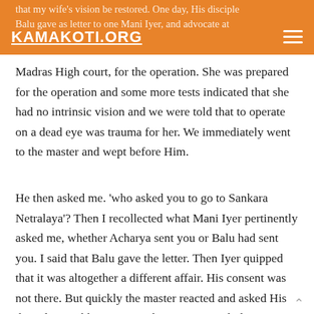KAMAKOTI.ORG
that my wife's vision be restored. One day, His disciple Balu gave as letter to one Mani Iyer, and advocate at Madras High court, for the operation. She was prepared for the operation and some more tests indicated that she had no intrinsic vision and we were told that to operate on a dead eye was trauma for her. We immediately went to the master and wept before Him.
He then asked me. 'who asked you to go to Sankara Netralaya'? Then I recollected what Mani Iyer pertinently asked me, whether Acharya sent you or Balu had sent you. I said that Balu gave the letter. Then Iyer quipped that it was altogether a different affair. His consent was not there. But quickly the master reacted and asked His disciple Pattabhiraman to take us to Vengudi doctor in the Matham in Jatka. The doctor also found a highly